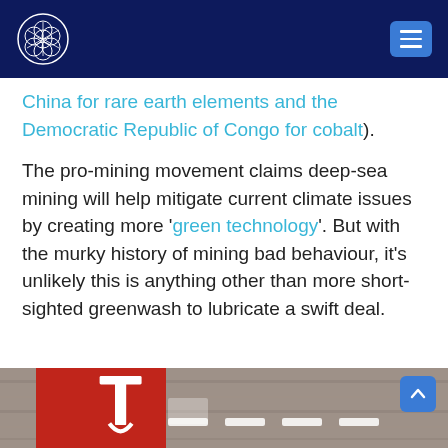[Logo] [Navigation menu button]
China for rare earth elements and the Democratic Republic of Congo for cobalt).
The pro-mining movement claims deep-sea mining will help mitigate current climate issues by creating more 'green technology'. But with the murky history of mining bad behaviour, it's unlikely this is anything other than more short-sighted greenwash to lubricate a swift deal.
[Figure (photo): A photo showing a Tesla logo sign on a wooden wall background, with white Tesla 'T' lettering visible, partially cropped at the bottom of the page.]